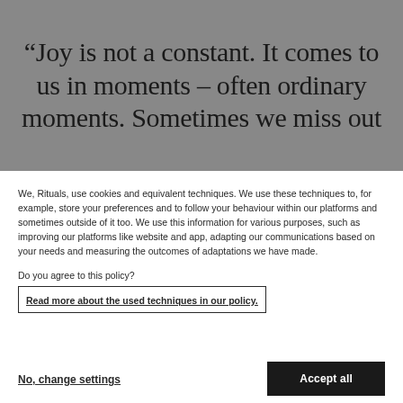“Joy is not a constant. It comes to us in moments – often ordinary moments. Sometimes we miss out
We, Rituals, use cookies and equivalent techniques. We use these techniques to, for example, store your preferences and to follow your behaviour within our platforms and sometimes outside of it too. We use this information for various purposes, such as improving our platforms like website and app, adapting our communications based on your needs and measuring the outcomes of adaptations we have made.
Do you agree to this policy?
Read more about the used techniques in our policy.
No, change settings
Accept all